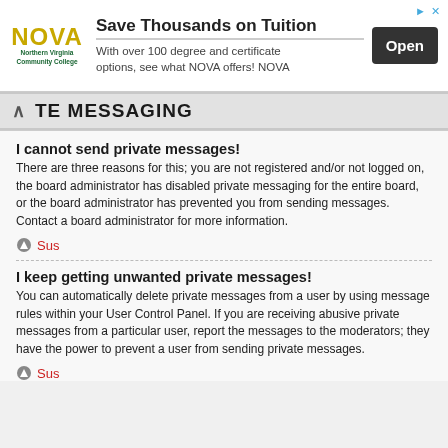[Figure (other): NOVA Northern Virginia Community College advertisement banner with logo, headline 'Save Thousands on Tuition', body text, and Open button]
TE MESSAGING
I cannot send private messages!
There are three reasons for this; you are not registered and/or not logged on, the board administrator has disabled private messaging for the entire board, or the board administrator has prevented you from sending messages. Contact a board administrator for more information.
Sus
I keep getting unwanted private messages!
You can automatically delete private messages from a user by using message rules within your User Control Panel. If you are receiving abusive private messages from a particular user, report the messages to the moderators; they have the power to prevent a user from sending private messages.
Sus